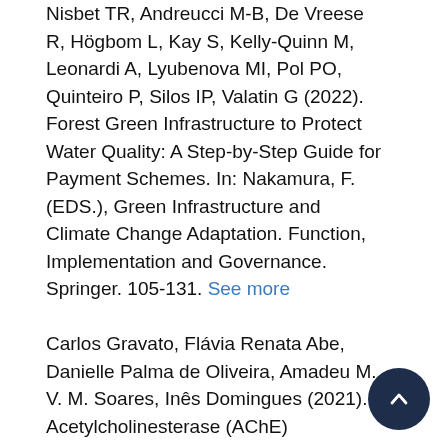Nisbet TR, Andreucci M-B, De Vreese R, Högbom L, Kay S, Kelly-Quinn M, Leonardi A, Lyubenova MI, Pol PO, Quinteiro P, Silos IP, Valatin G (2022). Forest Green Infrastructure to Protect Water Quality: A Step-by-Step Guide for Payment Schemes. In: Nakamura, F. (EDS.), Green Infrastructure and Climate Change Adaptation. Function, Implementation and Governance. Springer. 105-131. See more
Carlos Gravato, Flávia Renata Abe, Danielle Palma de Oliveira, Amadeu M. V. M. Soares, Inês Domingues (2021). Acetylcholinesterase (AChE)